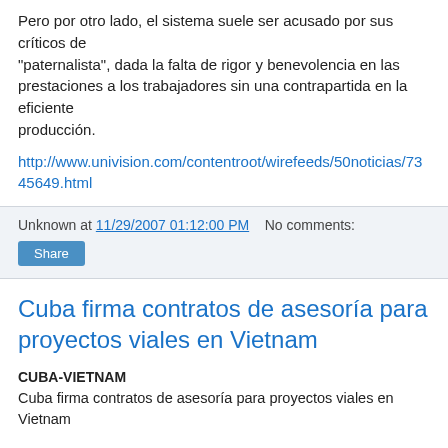Pero por otro lado, el sistema suele ser acusado por sus críticos de "paternalista", dada la falta de rigor y benevolencia en las prestaciones a los trabajadores sin una contrapartida en la eficiente producción.
http://www.univision.com/contentroot/wirefeeds/50noticias/7345649.html
Unknown at 11/29/2007 01:12:00 PM   No comments:
Share
Cuba firma contratos de asesoría para proyectos viales en Vietnam
CUBA-VIETNAM
Cuba firma contratos de asesoría para proyectos viales en Vietnam